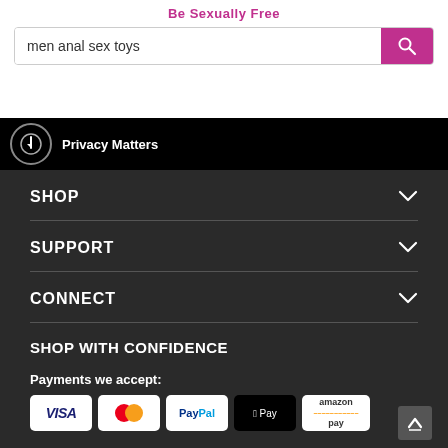Be Sexually Free
men anal sex toys
Privacy Matters
SHOP
SUPPORT
CONNECT
SHOP WITH CONFIDENCE
Payments we accept:
[Figure (logo): Payment method logos: Visa, Mastercard, PayPal, Apple Pay, Amazon Pay]